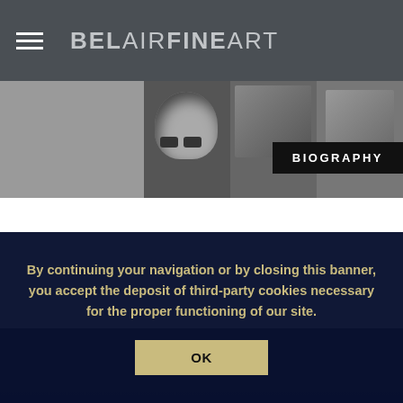BEL AIR FINE ART
[Figure (photo): Header banner showing tattoo artwork images including a skull and other designs in black and white]
BIOGRAPHY
By continuing your navigation or by closing this banner, you accept the deposit of third-party cookies necessary for the proper functioning of our site.
OK